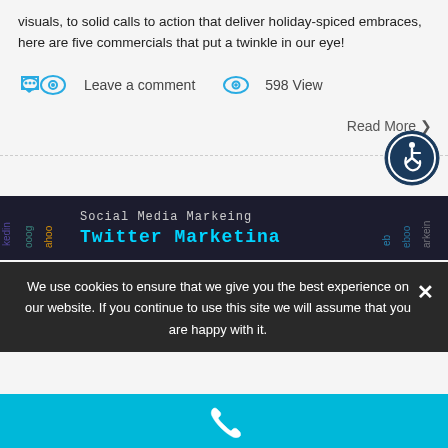visuals, to solid calls to action that deliver holiday-spiced embraces, here are five commercials that put a twinkle in our eye!
Leave a comment   598 View
Read More ❯
[Figure (other): Accessibility icon - circular badge with wheelchair user symbol in dark blue]
[Figure (screenshot): Dark banner with social media logos and text: Social Media Markeing, Twitter Marketina]
We use cookies to ensure that we give you the best experience on our website. If you continue to use this site we will assume that you are happy with it.
[Figure (other): Cyan bottom bar with white phone icon]